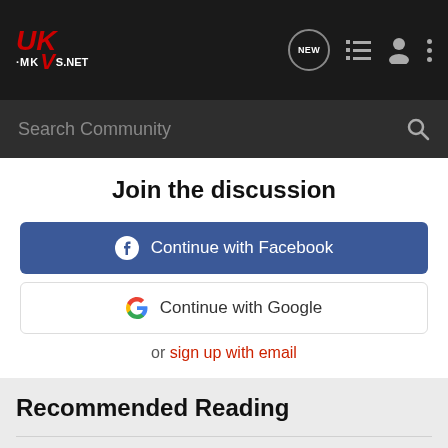UK-MKVS.NET — navigation header with search
Join the discussion
Continue with Facebook
Continue with Google
or sign up with email
Recommended Reading
Mk4 Golf  fitting new clutch...
Clutch and Gearbox